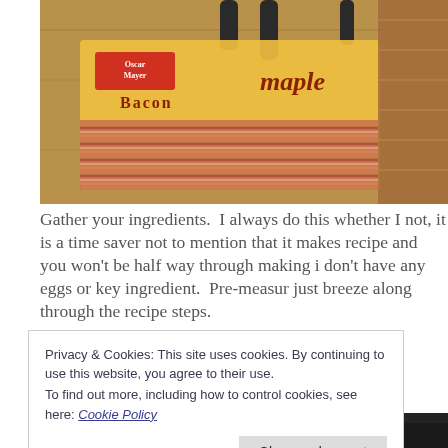[Figure (photo): Package of Oscar Mayer Maple Bacon on a wooden surface with scissors/knife visible at top]
Gather your ingredients.  I always do this whether not, it is a time saver not to mention that it makes recipe and you won't be half way through making i don't have any eggs or key ingredient.  Pre-measur just breeze along through the recipe steps.
[Figure (photo): Black cast iron pan photographed from above, dark background]
Privacy & Cookies: This site uses cookies. By continuing to use this website, you agree to their use.
To find out more, including how to control cookies, see here: Cookie Policy
Close and accept